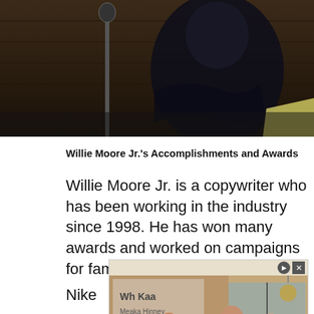[Figure (photo): Person in dark clothing sitting with arms crossed in a studio with wooden background]
Willie Moore Jr.'s Accomplishments and Awards
Willie Moore Jr. is a copywriter who has been working in the industry since 1998. He has won many awards and worked on campaigns for famous brands like:
Nike
[Figure (photo): Advertisement overlay showing kitchen scene with Book Now button]